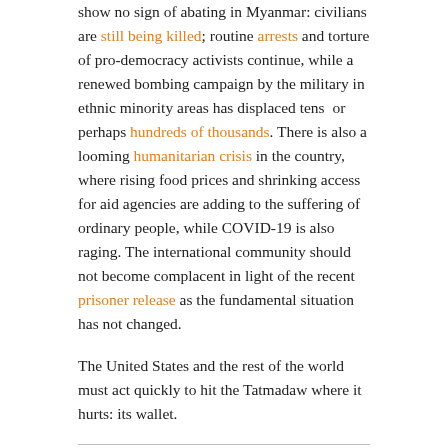show no sign of abating in Myanmar: civilians are still being killed; routine arrests and torture of pro-democracy activists continue, while a renewed bombing campaign by the military in ethnic minority areas has displaced tens or perhaps hundreds of thousands. There is also a looming humanitarian crisis in the country, where rising food prices and shrinking access for aid agencies are adding to the suffering of ordinary people, while COVID-19 is also raging. The international community should not become complacent in light of the recent prisoner release as the fundamental situation has not changed.
The United States and the rest of the world must act quickly to hit the Tatmadaw where it hurts: its wallet.
POSTED IN
Business and Human Rights,
Myanmar,
SHARE